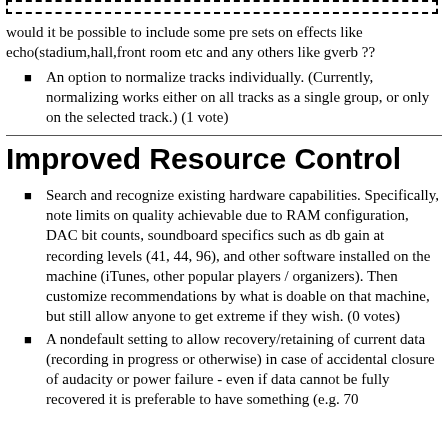would it be possible to include some pre sets on effects like echo(stadium,hall,front room etc and any others like gverb ??
An option to normalize tracks individually. (Currently, normalizing works either on all tracks as a single group, or only on the selected track.) (1 vote)
Improved Resource Control
Search and recognize existing hardware capabilities. Specifically, note limits on quality achievable due to RAM configuration, DAC bit counts, soundboard specifics such as db gain at recording levels (41, 44, 96), and other software installed on the machine (iTunes, other popular players / organizers). Then customize recommendations by what is doable on that machine, but still allow anyone to get extreme if they wish. (0 votes)
A nondefault setting to allow recovery/retaining of current data (recording in progress or otherwise) in case of accidental closure of audacity or power failure - even if data cannot be fully recovered it is preferable to have something (e.g. 70